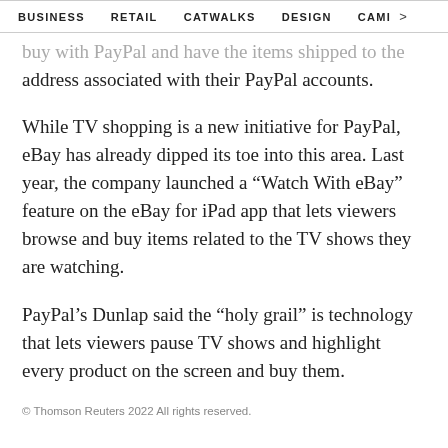BUSINESS   RETAIL   CATWALKS   DESIGN   CAMI  >
buy with PayPal and have the items shipped to the address associated with their PayPal accounts.
While TV shopping is a new initiative for PayPal, eBay has already dipped its toe into this area. Last year, the company launched a “Watch With eBay” feature on the eBay for iPad app that lets viewers browse and buy items related to the TV shows they are watching.
PayPal’s Dunlap said the “holy grail” is technology that lets viewers pause TV shows and highlight every product on the screen and buy them.
© Thomson Reuters 2022 All rights reserved.